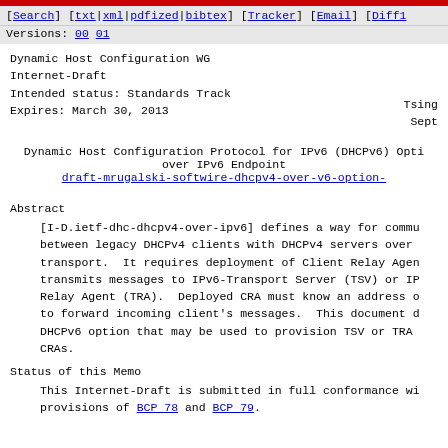[Search] [txt|xml|pdfized|bibtex] [Tracker] [Email] [Diff1
Versions: 00 01
Dynamic Host Configuration WG
Internet-Draft
Intended status: Standards Track
Expires: March 30, 2013				Tsing
						Sept
Dynamic Host Configuration Protocol for IPv6 (DHCPv6) Opti
over IPv6 Endpoint
draft-mrugalski-softwire-dhcpv4-over-v6-option-
Abstract
[I-D.ietf-dhc-dhcpv4-over-ipv6] defines a way for commu
between legacy DHCPv4 clients with DHCPv4 servers over 
transport.  It requires deployment of Client Relay Agen
transmits messages to IPv6-Transport Server (TSV) or IP
Relay Agent (TRA).  Deployed CRA must know an address o
to forward incoming client's messages.  This document d
DHCPv6 option that may be used to provision TSV or TRA 
CRAs.
Status of this Memo
This Internet-Draft is submitted in full conformance wi
provisions of BCP 78 and BCP 79.